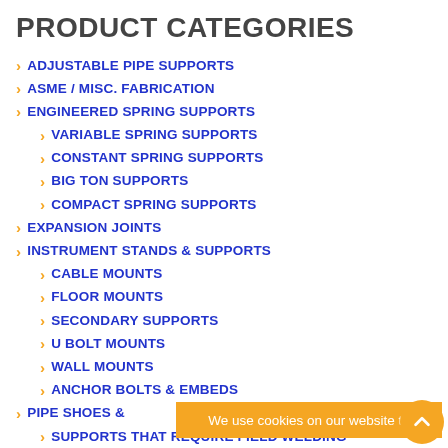PRODUCT CATEGORIES
ADJUSTABLE PIPE SUPPORTS
ASME / MISC. FABRICATION
ENGINEERED SPRING SUPPORTS
VARIABLE SPRING SUPPORTS
CONSTANT SPRING SUPPORTS
BIG TON SUPPORTS
COMPACT SPRING SUPPORTS
EXPANSION JOINTS
INSTRUMENT STANDS & SUPPORTS
CABLE MOUNTS
FLOOR MOUNTS
SECONDARY SUPPORTS
U BOLT MOUNTS
WALL MOUNTS
ANCHOR BOLTS & EMBEDS
PIPE SHOES &
SUPPORTS THAT REQUIRE FIELD WELDING
We use cookies on our website to